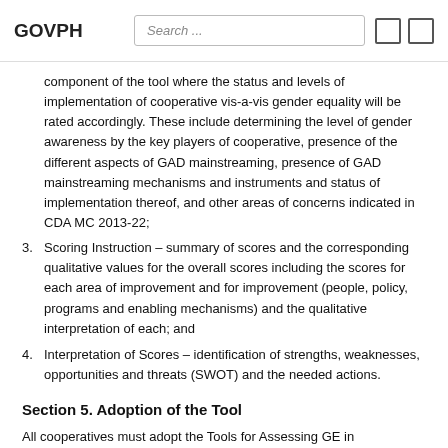GOVPH  Search ...
component of the tool where the status and levels of implementation of cooperative vis-a-vis gender equality will be rated accordingly. These include determining the level of gender awareness by the key players of cooperative, presence of the different aspects of GAD mainstreaming, presence of GAD mainstreaming mechanisms and instruments and status of implementation thereof, and other areas of concerns indicated in CDA MC 2013-22;
3. Scoring Instruction – summary of scores and the corresponding qualitative values for the overall scores including the scores for each area of improvement and for improvement (people, policy, programs and enabling mechanisms) and the qualitative interpretation of each; and
4. Interpretation of Scores – identification of strengths, weaknesses, opportunities and threats (SWOT) and the needed actions.
Section 5. Adoption of the Tool
All cooperatives must adopt the Tools for Assessing GE in